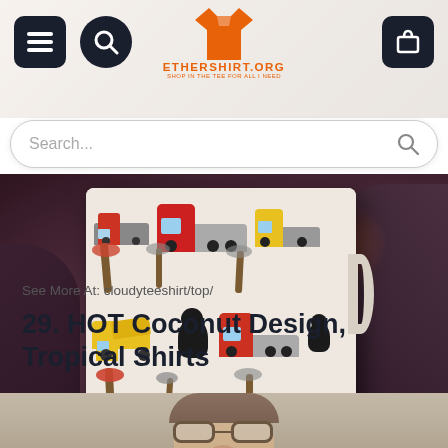[Figure (screenshot): Website header for ethershirt.org showing navigation icons (menu, search, cart), orange t-shirt logo, and decorative background with truck/tropical pattern]
[Figure (other): Search bar with placeholder text 'Search...' and magnifying glass icon]
[Figure (photo): Product photo of a mug with tropical trucks and palm trees Hawaiian shirt pattern design, set against a moody purple-toned sunset background]
See More At: cloudyteeshirt/top/
29. HOT Coconut Design, Tropical Shirts
[Figure (photo): Partial photo of a person wearing glasses, cropped to show only the top portion of their face from nose up]